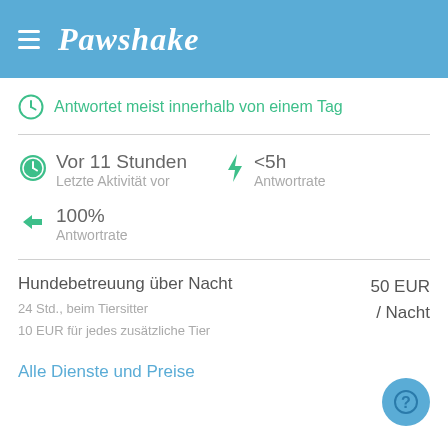Pawshake
Antwortet meist innerhalb von einem Tag
Vor 11 Stunden
Letzte Aktivität vor
<5h
Antwortrate
100%
Antwortrate
Hundebetreuung über Nacht
24 Std., beim Tiersitter
10 EUR für jedes zusätzliche Tier
50 EUR / Nacht
Alle Dienste und Preise